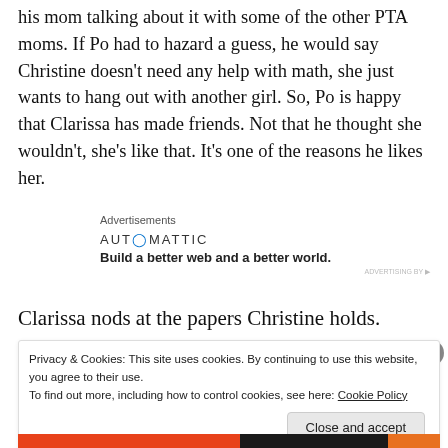his mom talking about it with some of the other PTA moms. If Po had to hazard a guess, he would say Christine doesn't need any help with math, she just wants to hang out with another girl. So, Po is happy that Clarissa has made friends. Not that he thought she wouldn't, she's like that. It's one of the reasons he likes her.
Advertisements
AUTOMATTIC
Build a better web and a better world.
Clarissa nods at the papers Christine holds.
Privacy & Cookies: This site uses cookies. By continuing to use this website, you agree to their use.
To find out more, including how to control cookies, see here: Cookie Policy
Close and accept